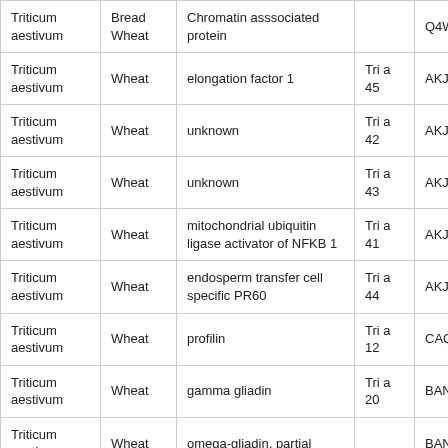| Triticum aestivum | Bread Wheat | Chromatin asssociated protein |  | Q4W1G2 |
| Triticum aestivum | Wheat | elongation factor 1 | Tri a 45 | AKJ7798 |
| Triticum aestivum | Wheat | unknown | Tri a 42 | AKJ7798 |
| Triticum aestivum | Wheat | unknown | Tri a 43 | AKJ7798 |
| Triticum aestivum | Wheat | mitochondrial ubiquitin ligase activator of NFKB 1 | Tri a 41 | AKJ7798 |
| Triticum aestivum | Wheat | endosperm transfer cell specific PR60 | Tri a 44 | AKJ7799 |
| Triticum aestivum | Wheat | profilin | Tri a 12 | CAQ579 |
| Triticum aestivum | Wheat | gamma gliadin | Tri a 20 | BAN290 |
| Triticum aestivum | Wheat | omega-gliadin, partial |  | BAN290 |